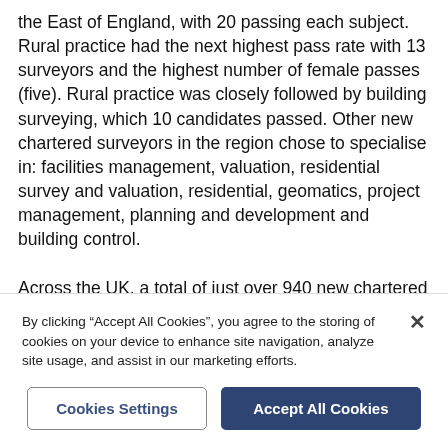the East of England, with 20 passing each subject. Rural practice had the next highest pass rate with 13 surveyors and the highest number of female passes (five). Rural practice was closely followed by building surveying, which 10 candidates passed. Other new chartered surveyors in the region chose to specialise in: facilities management, valuation, residential survey and valuation, residential, geomatics, project management, planning and development and building control.

Across the UK, a total of just over 940 new chartered members have qualified, with the largest number being
By clicking "Accept All Cookies", you agree to the storing of cookies on your device to enhance site navigation, analyze site usage, and assist in our marketing efforts.
Cookies Settings
Accept All Cookies